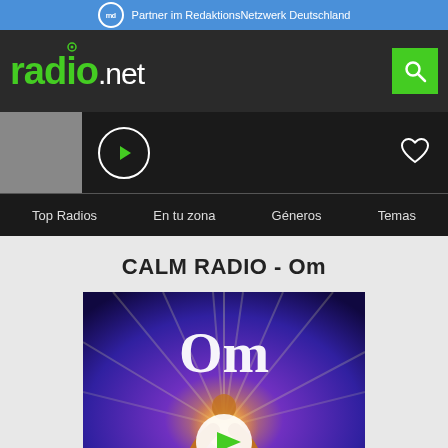Partner im RedaktionsNetzwerk Deutschland
[Figure (logo): radio.net logo in green on dark background with search button]
[Figure (screenshot): Radio player bar with thumbnail, play button and heart icon]
Top Radios   En tu zona   Géneros   Temas
CALM RADIO - Om
[Figure (photo): Calm Radio Om station artwork: Buddha figure holding glowing orb with purple sky and Om text, with play button overlay]